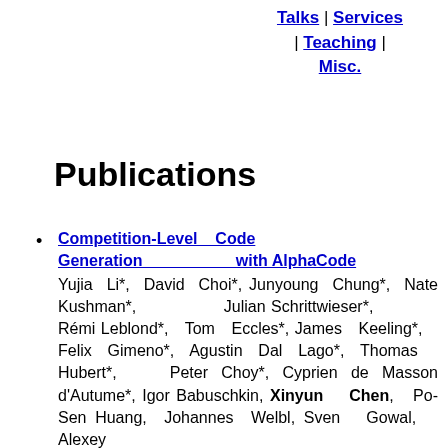Talks | Services | Teaching | Misc.
Publications
Competition-Level Code Generation with AlphaCode — Yujia Li*, David Choi*, Junyoung Chung*, Nate Kushman*, Julian Schrittwieser*, Rémi Leblond*, Tom Eccles*, James Keeling*, Felix Gimeno*, Agustin Dal Lago*, Thomas Hubert*, Peter Choy*, Cyprien de Masson d'Autume*, Igor Babuschkin, Xinyun Chen, Po-Sen Huang, Johannes Welbl, Sven Gowal, Alexey Chow...